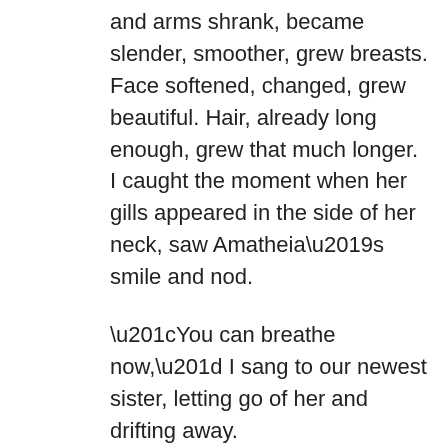and arms shrank, became slender, smoother, grew breasts. Face softened, changed, grew beautiful. Hair, already long enough, grew that much longer. I caught the moment when her gills appeared in the side of her neck, saw Amatheia’s smile and nod.
“You can breathe now,” I sang to our newest sister, letting go of her and drifting away.
-oOo-
She chose the name Pearl.
Her life had been a hard one, and even she referred to herself in the masculine when telling